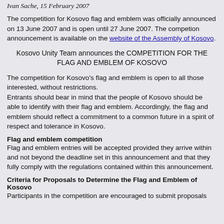Ivan Sache, 15 February 2007
The competition for Kosovo flag and emblem was officially announced on 13 June 2007 and is open until 27 June 2007. The competion announcement is available on the website of the Assembly of Kosovo.
Kosovo Unity Team announces the COMPETITION FOR THE FLAG AND EMBLEM OF KOSOVO
The competition for Kosovo's flag and emblem is open to all those interested, without restrictions.
Entrants should bear in mind that the people of Kosovo should be able to identify with their flag and emblem. Accordingly, the flag and emblem should reflect a commitment to a common future in a spirit of respect and tolerance in Kosovo.
Flag and emblem competition
Flag and emblem entries will be accepted provided they arrive within and not beyond the deadline set in this announcement and that they fully comply with the regulations contained within this announcement.
Criteria for Proposals to Determine the Flag and Emblem of Kosovo
Participants in the competition are encouraged to submit proposals